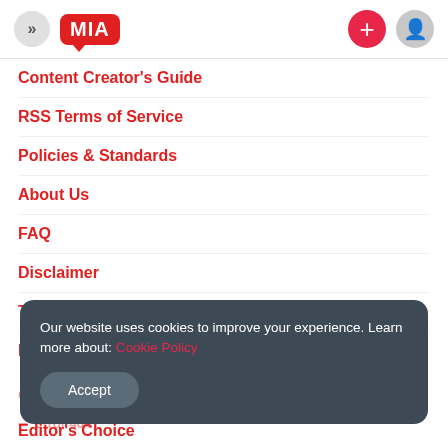MIA navigation header with logo and icons
Content Creator's Guide
RSS Terms of Service
Policies & Standards
About Us
FAQ
Disclaimer
Terms Of Service
Privacy Policy
Our website uses cookies to improve your experience. Learn more about: Cookie Policy
Accept
Editor's Choice